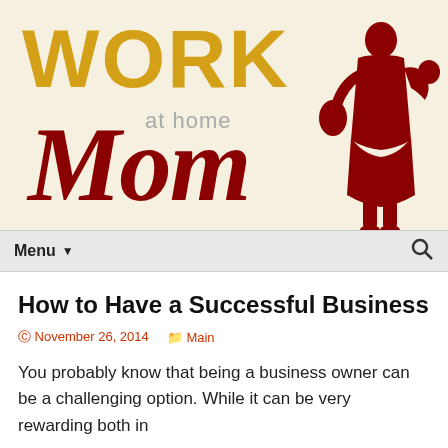[Figure (logo): Work at Home Mom website logo with yellow WORK text, red script Mom, 'at home' in grey, and red silhouette of a woman holding a baby]
Menu ▼  🔍
How to Have a Successful Business
© November 26, 2014    📁 Main
You probably know that being a business owner can be a challenging option. While it can be very rewarding both in